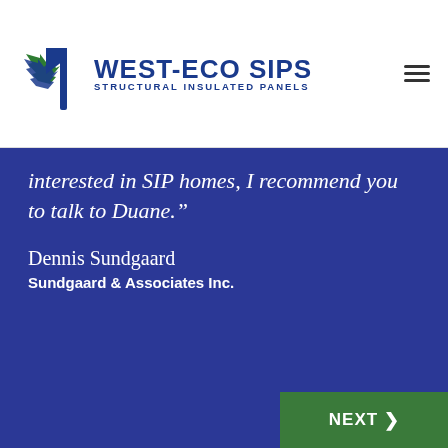[Figure (logo): West-Eco SIPS logo with maple leaf and beam graphic, text reads WEST-ECO SIPS STRUCTURAL INSULATED PANELS]
interested in SIP homes, I recommend you to talk to Duane.”
Dennis Sundgaard
Sundgaard & Associates Inc.